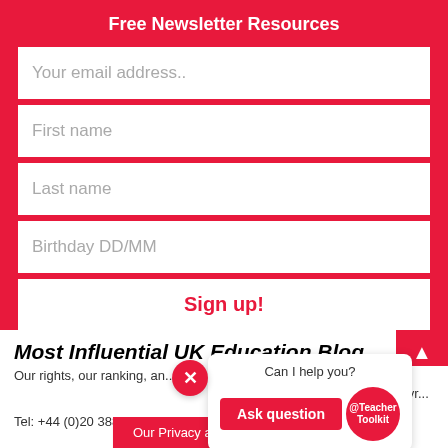Free Newsletter Resources
Your email address..
First name
Last name
Birthday DD/MM
Sign up!
Most Influential UK Education Blog
Our rights, our ranking, an...
Copyr...
Tel: +44 (0)20 3886 1800
Can I help you?
Ask question
@Teacher Toolkit
Our Privacy and Cookies Policy